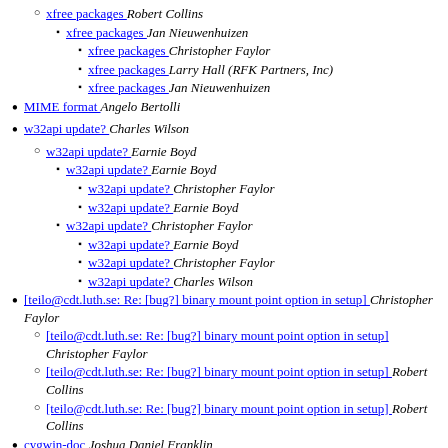xfree packages  Robert Collins
xfree packages  Jan Nieuwenhuizen
xfree packages  Christopher Faylor
xfree packages  Larry Hall (RFK Partners, Inc)
xfree packages  Jan Nieuwenhuizen
MIME format  Angelo Bertolli
w32api update?  Charles Wilson
w32api update?  Earnie Boyd
w32api update?  Earnie Boyd
w32api update?  Christopher Faylor
w32api update?  Earnie Boyd
w32api update?  Christopher Faylor
w32api update?  Earnie Boyd
w32api update?  Christopher Faylor
w32api update?  Charles Wilson
[teilo@cdt.luth.se: Re: [bug?] binary mount point option in setup]  Christopher Faylor
[teilo@cdt.luth.se: Re: [bug?] binary mount point option in setup]  Christopher Faylor
[teilo@cdt.luth.se: Re: [bug?] binary mount point option in setup]  Robert Collins
[teilo@cdt.luth.se: Re: [bug?] binary mount point option in setup]  Robert Collins
cygwin-doc  Joshua Daniel Franklin